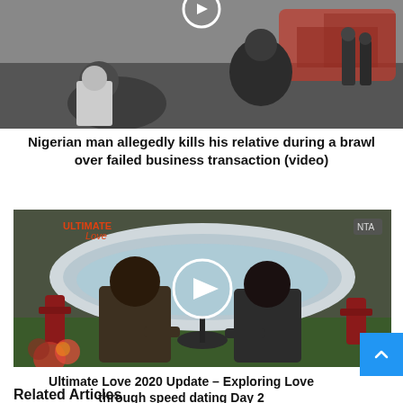[Figure (photo): Video thumbnail showing people in a street scene, partial view of a brawl]
Nigerian man allegedly kills his relative during a brawl over failed business transaction (video)
[Figure (photo): Video thumbnail from Ultimate Love 2020 show, two people sitting at a table outdoors with a hot tub in background, play button overlay]
Ultimate Love 2020 Update - Exploring Love through speed dating Day 2
Related Articles